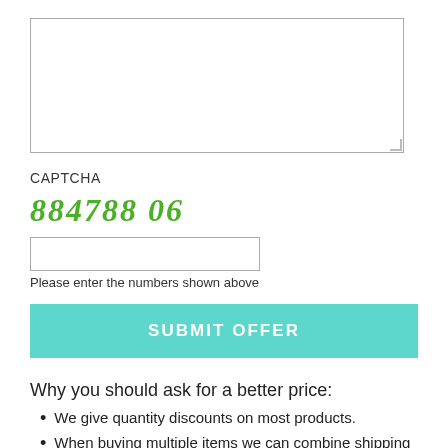[Figure (other): A textarea input box (empty) with resize handle at bottom-right corner]
CAPTCHA
884788 06
[Figure (other): A CAPTCHA text input box (empty)]
Please enter the numbers shown above
SUBMIT OFFER
Why you should ask for a better price:
We give quantity discounts on most products.
When buying multiple items we can combine shipping or reduce it.